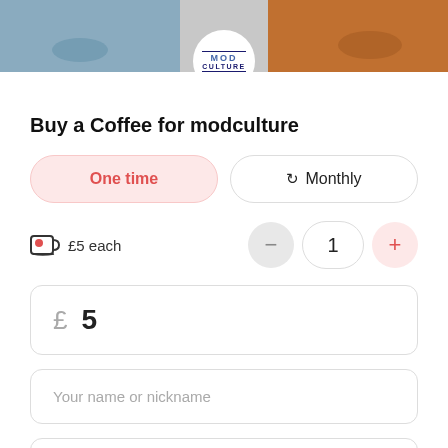[Figure (photo): ModCulture website banner photo showing motorcycles/scooters with a circular white ModCulture logo in the center]
Buy a Coffee for modculture
One time (selected button) | Monthly (unselected button)
☕ £5 each  -  1  +
£  5
Your name or nickname
Your message